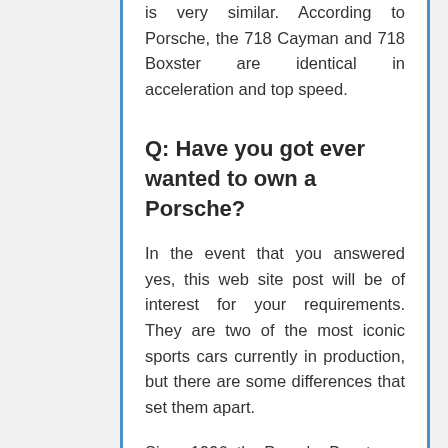is very similar. According to Porsche, the 718 Cayman and 718 Boxster are identical in acceleration and top speed.
Q: Have you got ever wanted to own a Porsche?
In the event that you answered yes, this web site post will be of interest for your requirements. They are two of the most iconic sports cars currently in production, but there are some differences that set them apart.
Since 1996, the Porsche Boxster